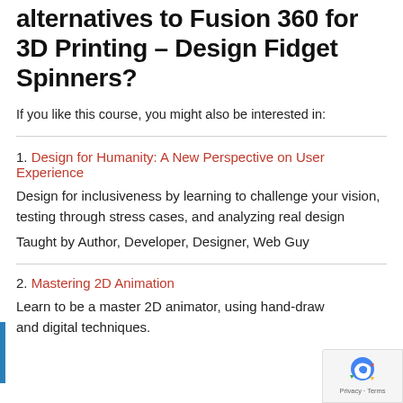alternatives to Fusion 360 for 3D Printing – Design Fidget Spinners?
If you like this course, you might also be interested in:
1. Design for Humanity: A New Perspective on User Experience
Design for inclusiveness by learning to challenge your vision, testing through stress cases, and analyzing real design
Taught by Author, Developer, Designer, Web Guy
2. Mastering 2D Animation
Learn to be a master 2D animator, using hand-drawn and digital techniques.